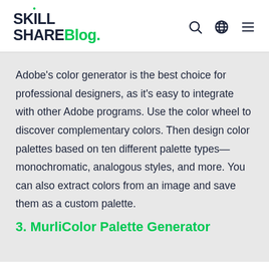SkillShare Blog.
Adobe's color generator is the best choice for professional designers, as it's easy to integrate with other Adobe programs. Use the color wheel to discover complementary colors. Then design color palettes based on ten different palette types—monochromatic, analogous styles, and more. You can also extract colors from an image and save them as a custom palette.
3. MurliColor Palette Generator